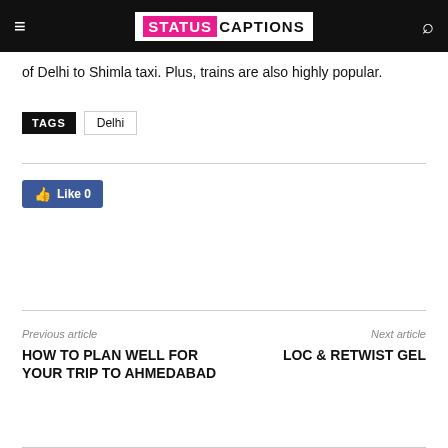STATUS CAPTIONS
of Delhi to Shimla taxi. Plus, trains are also highly popular.
TAGS  Delhi
[Figure (other): Facebook Like button showing 'Like 0']
Previous article
HOW TO PLAN WELL FOR YOUR TRIP TO AHMEDABAD
Next article
LOC & RETWIST GEL